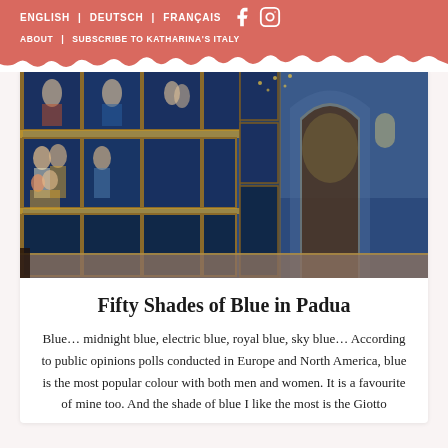ENGLISH | DEUTSCH | FRANÇAIS  [Facebook] [Instagram]
ABOUT | SUBSCRIBE TO KATHARINA'S ITALY
[Figure (photo): Interior of a richly frescoed chapel showing walls covered with Giotto's blue-background biblical paintings, ornate arched ceiling, and an apse at the far end.]
Fifty Shades of Blue in Padua
Blue… midnight blue, electric blue, royal blue, sky blue… According to public opinions polls conducted in Europe and North America, blue is the most popular colour with both men and women. It is a favourite of mine too. And the shade of blue I like the most is the Giotto